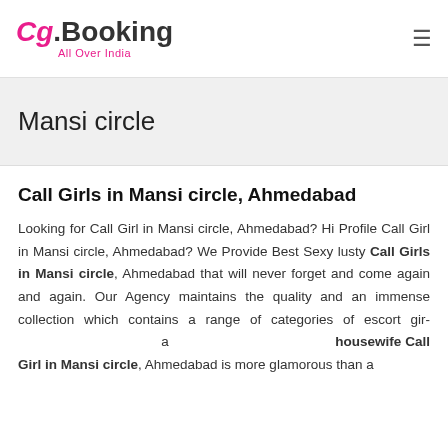Cg.Booking All Over India
Mansi circle
Call Girls in Mansi circle, Ahmedabad
Looking for Call Girl in Mansi circle, Ahmedabad? Hi Profile Call Girl in Mansi circle, Ahmedabad? We Provide Best Sexy lusty Call Girls in Mansi circle, Ahmedabad that will never forget and come again and again. Our Agency maintains the quality and an immense collection which contains a range of categories of escort gir... a ...housewife Call Girl in Mansi circle, Ahmedabad is more glamorous than a